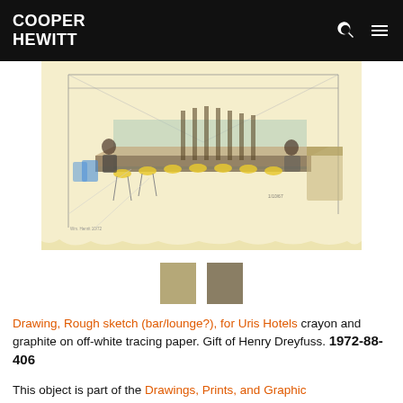COOPER HEWITT
[Figure (illustration): Sketch drawing of a bar/lounge interior with crayon and graphite on off-white tracing paper, showing a long bar counter with stools, colored chairs, and cylindrical column elements in the background]
[Figure (other): Two color swatches: tan/khaki and darker gray-brown]
Drawing, Rough sketch (bar/lounge?), for Uris Hotels crayon and graphite on off-white tracing paper. Gift of Henry Dreyfuss. 1972-88-406
This object is part of the Drawings, Prints, and Graphic